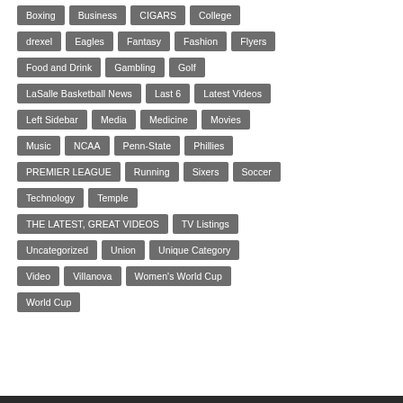Boxing
Business
CIGARS
College
drexel
Eagles
Fantasy
Fashion
Flyers
Food and Drink
Gambling
Golf
LaSalle Basketball News
Last 6
Latest Videos
Left Sidebar
Media
Medicine
Movies
Music
NCAA
Penn-State
Phillies
PREMIER LEAGUE
Running
Sixers
Soccer
Technology
Temple
THE LATEST, GREAT VIDEOS
TV Listings
Uncategorized
Union
Unique Category
Video
Villanova
Women's World Cup
World Cup